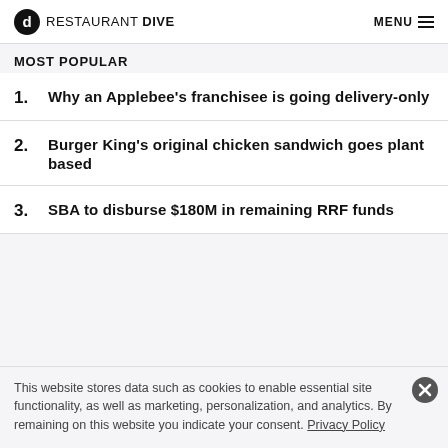RESTAURANT DIVE — MENU
MOST POPULAR
1. Why an Applebee's franchisee is going delivery-only
2. Burger King's original chicken sandwich goes plant based
3. SBA to disburse $180M in remaining RRF funds
This website stores data such as cookies to enable essential site functionality, as well as marketing, personalization, and analytics. By remaining on this website you indicate your consent. Privacy Policy